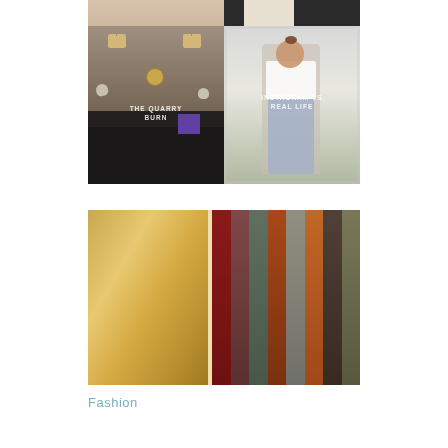[Figure (photo): Two small thumbnail photos at top: left shows legs/feet, right shows a person in dark clothing]
[Figure (photo): Left: interior salon/lounge room with pendant lamps and dark sofas, text overlay reads THE QUARRY BURN]
[Figure (photo): Right: person in white t-shirt and jeans taking mirror selfie, text overlay reads INSTAGRAM VS REAL LIFE]
[Figure (photo): Large bottom image: left side shows a gold/bronze mirrored wardrobe door, right side shows colourful velvet ribbons or fabric strips hanging vertically in red, grey, green, orange tones]
Fashion